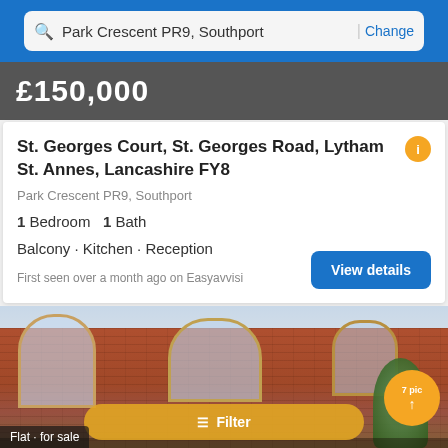Park Crescent PR9, Southport | Change
£150,000
St. Georges Court, St. Georges Road, Lytham St. Annes, Lancashire FY8
Park Crescent PR9, Southport
1 Bedroom  1 Bath
Balcony · Kitchen · Reception
First seen over a month ago on Easyavvisi
View details
[Figure (photo): Exterior photo of a red-brick Victorian terrace with bay windows and tree in foreground. Shows 7 pictures badge.]
Flat · for sale
Filter